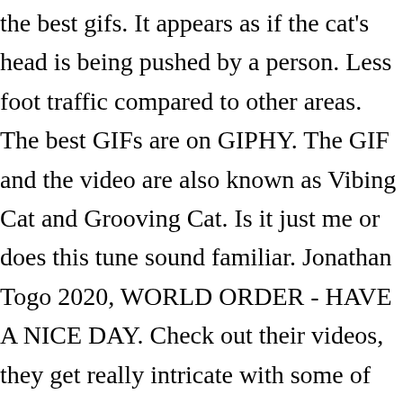the best gifs. It appears as if the cat's head is being pushed by a person. Less foot traffic compared to other areas. The best GIFs are on GIPHY. The GIF and the video are also known as Vibing Cat and Grooving Cat. Is it just me or does this tune sound familiar. Jonathan Togo 2020, WORLD ORDER - HAVE A NICE DAY. Check out their videos, they get really intricate with some of their dance routines and the music is very catchy. #metal #headbang #rock #bang your head #headbanging gif. The GIF and the video are also known as